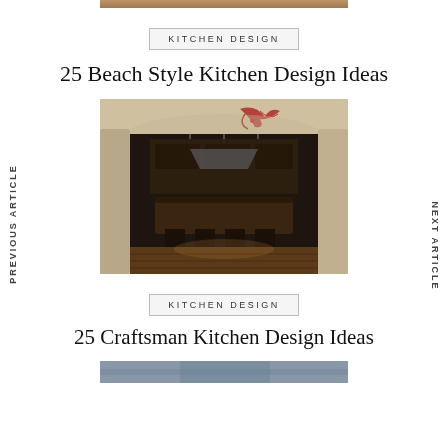[Figure (photo): Top cropped portion of a kitchen interior photo]
KITCHEN DESIGN
25 Beach Style Kitchen Design Ideas
[Figure (photo): Dark moody kitchen interior viewed through an archway, with decorative floral ceiling painting in red, dark wood island with bar stools, pendant lights, and warm hardwood flooring]
KITCHEN DESIGN
25 Craftsman Kitchen Design Ideas
[Figure (photo): Bottom cropped portion of another kitchen photo]
PREVIOUS ARTICLE
NEXT ARTICLE